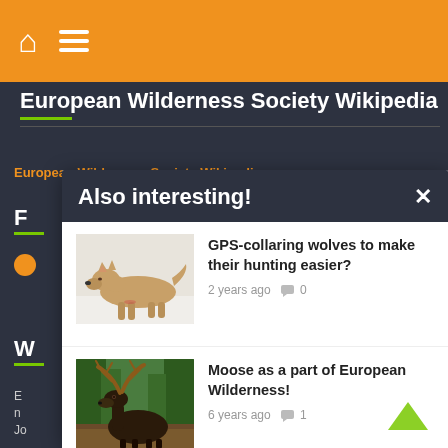European Wilderness Society Wikipedia
European Wilderness Society Wikipedia
F
W
E n
Jo
[Figure (screenshot): Modal popup with dark header reading 'Also interesting!' and an X close button. Contains two article items: 1) A wolf lying in snow with text 'GPS-collaring wolves to make their hunting easier?' 2 years ago, 0 comments. 2) A moose in a forest with text 'Moose as a part of European Wilderness!' 6 years ago, 1 comment. A green chevron/arrow scroll-up button in bottom right.]